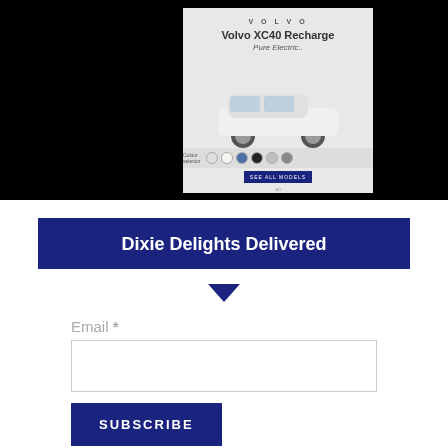[Figure (screenshot): Volvo XC40 Recharge advertisement showing a white SUV with color selector dots and a configure button, on a light gray background]
Dixie Delights Delivered
Email *
SUBSCRIBE
Welcome Y'all